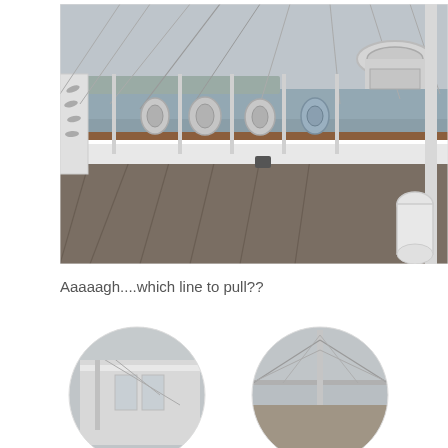[Figure (photo): Photograph of the deck of a tall ship showing coiled ropes hanging on the railings, rigging lines overhead, a wooden deck, and open water visible in the background under an overcast sky.]
Aaaaagh....which line to pull??
[Figure (photo): Circular cropped photo showing the side of a tall ship's hull and mast area with rigging.]
[Figure (photo): Circular cropped photo showing tall ship masts and rigging against an overcast sky.]